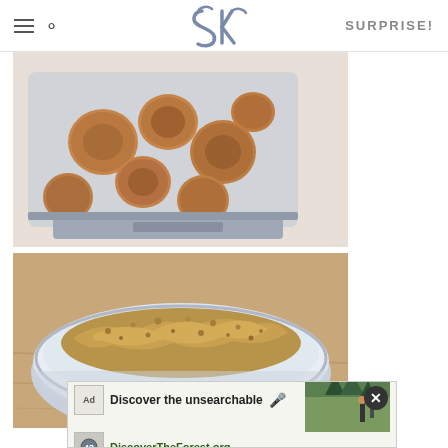SK | SURPRISE!
[Figure (photo): Cookies or wafers inside a food processor bowl, viewed from above/side]
[Figure (photo): Ground cookie crumbs in a white ceramic bowl on a wooden surface]
[Figure (other): Advertisement banner: Discover the unsearchable / DiscoverTheForest.org with forest hiking image]